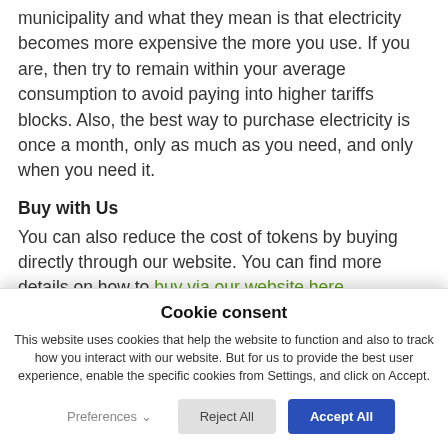municipality and what they mean is that electricity becomes more expensive the more you use. If you are, then try to remain within your average consumption to avoid paying into higher tariffs blocks. Also, the best way to purchase electricity is once a month, only as much as you need, and only when you need it.
Buy with Us
You can also reduce the cost of tokens by buying directly through our website. You can find more details on how to buy via our website here
Cookie consent
This website uses cookies that help the website to function and also to track how you interact with our website. But for us to provide the best user experience, enable the specific cookies from Settings, and click on Accept.